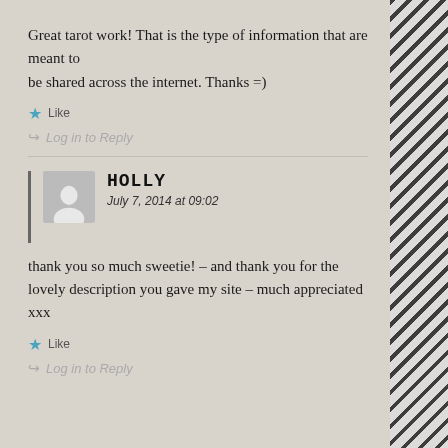Great tarot work! That is the type of information that are meant to be shared across the internet. Thanks =)
★ Like
↪ Log in to Reply
HOLLY
July 7, 2014 at 09:02
thank you so much sweetie! – and thank you for the lovely description you gave my site – much appreciated xxx
★ Like
↪ Log in to Reply